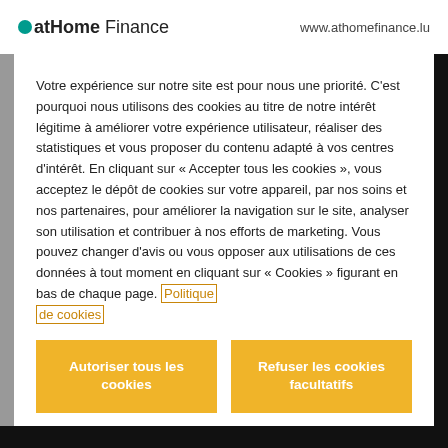atHome Finance   www.athomefinance.lu
Votre expérience sur notre site est pour nous une priorité. C'est pourquoi nous utilisons des cookies au titre de notre intérêt légitime à améliorer votre expérience utilisateur, réaliser des statistiques et vous proposer du contenu adapté à vos centres d'intérêt. En cliquant sur « Accepter tous les cookies », vous acceptez le dépôt de cookies sur votre appareil, par nos soins et nos partenaires, pour améliorer la navigation sur le site, analyser son utilisation et contribuer à nos efforts de marketing. Vous pouvez changer d'avis ou vous opposer aux utilisations de ces données à tout moment en cliquant sur « Cookies » figurant en bas de chaque page. Politique de cookies
Autoriser tous les cookies
Refuser les cookies facultatifs
Personnaliser les cookies